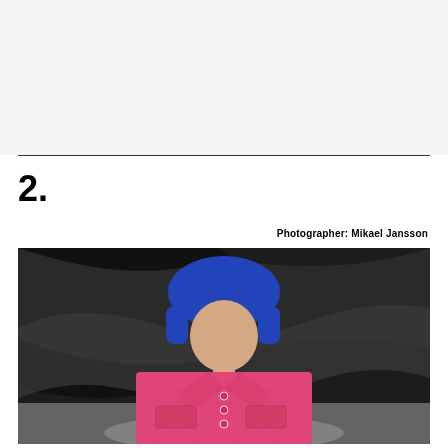2.
Photographer: Mikael Jansson
[Figure (photo): Fashion runway photo of a female model wearing a bright blue fur trapper hat and a pink structured coat with large collar, against a dark dramatic background. Photographer: Mikael Jansson.]